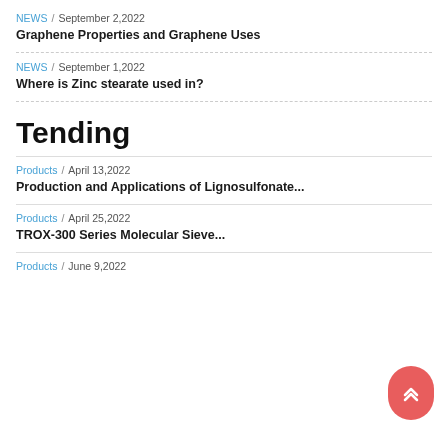NEWS / September 2,2022
Graphene Properties and Graphene Uses
NEWS / September 1,2022
Where is Zinc stearate used in?
Tending
Products / April 13,2022
Production and Applications of Lignosulfonate...
Products / April 25,2022
TROX-300 Series Molecular Sieve...
Products / June 9,2022